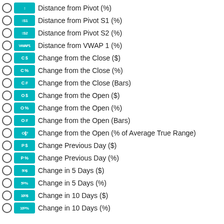Distance from Pivot (%)
Distance from Pivot S1 (%)
Distance from Pivot S2 (%)
Distance from VWAP 1 (%)
Change from the Close ($)
Change from the Close (%)
Change from the Close (Bars)
Change from the Open ($)
Change from the Open (%)
Change from the Open (Bars)
Change from the Open (% of Average True Range)
Change Previous Day ($)
Change Previous Day (%)
Change in 5 Days ($)
Change in 5 Days (%)
Change in 10 Days ($)
Change in 10 Days (%)